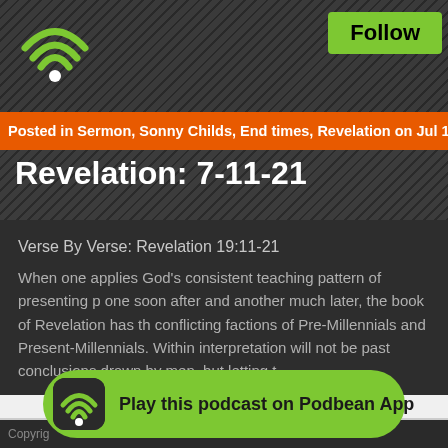[Figure (logo): Podbean podcast WiFi-style logo in green on dark header bar]
Follow
Posted in Sermon, Sonny Childs, End times, Revelation on Jul 11th, 2021 Com
Revelation: 7-11-21
Verse By Verse: Revelation 19:11-21
When one applies God's consistent teaching pattern of presenting p one soon after and another much later, the book of Revelation has th conflicting factions of Pre-Millennials and Present-Millennials. Within interpretation will not be past conclusions drawn by men, but letting t
Copyrig
[Figure (other): Green Play this podcast on Podbean App button with WiFi logo icon]